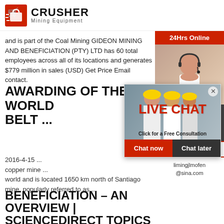[Figure (logo): Crusher Mining Equipment logo with red shopping bag icon and bold CRUSHER text]
and is part of the Coal Mining GIDEON MINING AND BENEFICIATION (PTY) LTD has 60 total employees across all of its locations and generates $779 million in sales (USD) Get Price Email contact.
AWARDING OF THE WORLD BELT ...
2016-4-15 ... copper mine ... world and is located 1650 km north of Santiago mine, popularly referred to as ...
BENEFICIATION – AN OVERVIEW | SCIENCEDIRECT TOPICS
[Figure (screenshot): Live Chat popup overlay with workers photo, LIVE CHAT heading in red, Click for a Free Consultation, Chat now and Chat later buttons]
[Figure (screenshot): Sidebar with 24Hrs Online badge, female customer service agent photo, Need questions & suggestion, Chat Now button, Enquiry link, limingjlmofen@sina.com email]